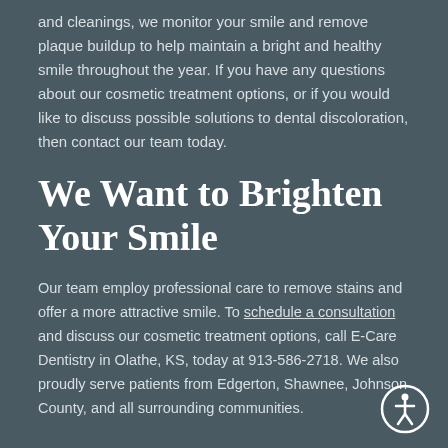and cleanings, we monitor your smile and remove plaque buildup to help maintain a bright and healthy smile throughout the year. If you have any questions about our cosmetic treatment options, or if you would like to discuss possible solutions to dental discoloration, then contact our team today.
We Want to Brighten Your Smile
Our team employ professional care to remove stains and offer a more attractive smile. To schedule a consultation and discuss our cosmetic treatment options, call E-Care Dentistry in Olathe, KS, today at 913-586-2718. We also proudly serve patients from Edgerton, Shawnee, Johnson County, and all surrounding communities.
[Figure (illustration): Accessibility icon — a white circle with person figure inside, bottom-right corner]